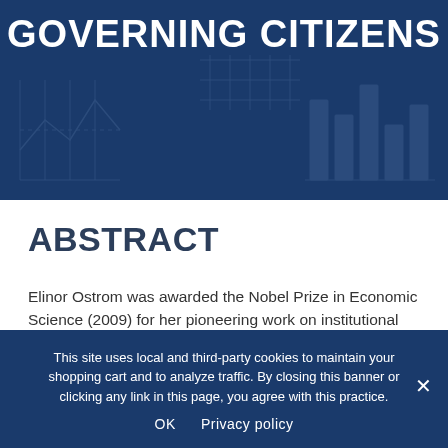GOVERNING CITIZENS
ABSTRACT
Elinor Ostrom was awarded the Nobel Prize in Economic Science (2009) for her pioneering work on institutional governance and the evolution of rules to address the problem of common-pool resources. In this conference, we explored the so-
This site uses local and third-party cookies to maintain your shopping cart and to analyze traffic. By closing this banner or clicking any link in this page, you agree with this practice.

OK   Privacy policy